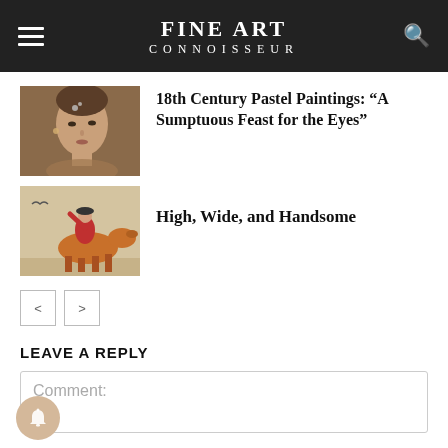FINE ART CONNOISSEUR
[Figure (photo): Close-up portrait of a young woman with hair accessory, warm brown tones — 18th century style pastel painting]
18th Century Pastel Paintings: “A Sumptuous Feast for the Eyes”
[Figure (photo): Painting of a figure in red on horseback or in action, warm beige and orange tones — Western or adventure subject]
High, Wide, and Handsome
< >
LEAVE A REPLY
Comment: